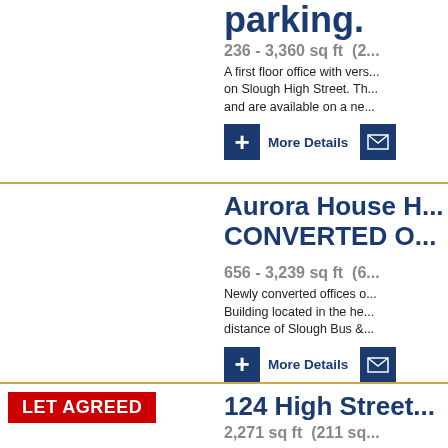parking.
236 - 3,360 sq ft  (2...
A first floor office with vers... on Slough High Street. Th... and are available on a ne...
More Details
Aurora House H... CONVERTED O...
656 - 3,239 sq ft  (6...
Newly converted offices o... Building located in the he... distance of Slough Bus &...
More Details
LET AGREED
124 High Street...
2,271 sq ft  (211 sq...